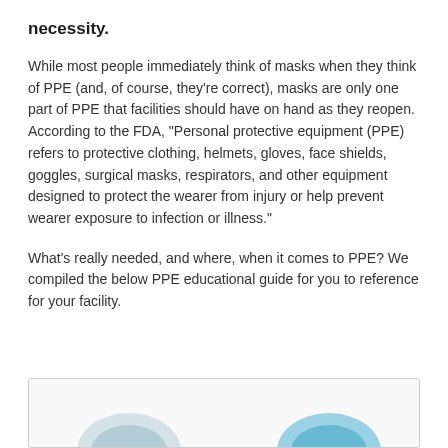necessity.
While most people immediately think of masks when they think of PPE (and, of course, they're correct), masks are only one part of PPE that facilities should have on hand as they reopen. According to the FDA, "Personal protective equipment (PPE) refers to protective clothing, helmets, gloves, face shields, goggles, surgical masks, respirators, and other equipment designed to protect the wearer from injury or help prevent wearer exposure to infection or illness."
What's really needed, and where, when it comes to PPE? We compiled the below PPE educational guide for you to reference for your facility.
[Figure (illustration): Partial view of a box or infographic showing illustrations of PPE items including what appears to be masks, partially cut off at the bottom of the page.]